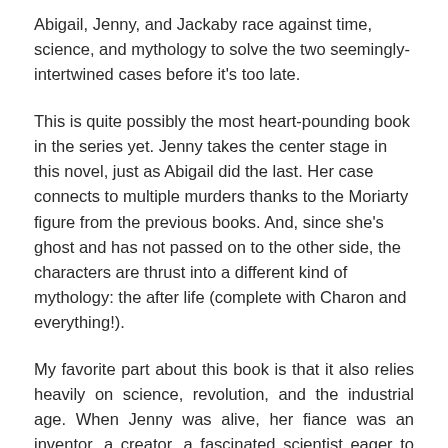Abigail, Jenny, and Jackaby race against time, science, and mythology to solve the two seemingly-intertwined cases before it's too late.
This is quite possibly the most heart-pounding book in the series yet. Jenny takes the center stage in this novel, just as Abigail did the last. Her case connects to multiple murders thanks to the Moriarty figure from the previous books. And, since she's ghost and has not passed on to the other side, the characters are thrust into a different kind of mythology: the after life (complete with Charon and everything!).
My favorite part about this book is that it also relies heavily on science, revolution, and the industrial age. When Jenny was alive, her fiance was an inventor, a creator, a fascinated scientist eager to thrust New Fiddleham into the new age. He was recruited and befriended by like-minded individuals, all who met their untimely deaths as well. Fantasy and science